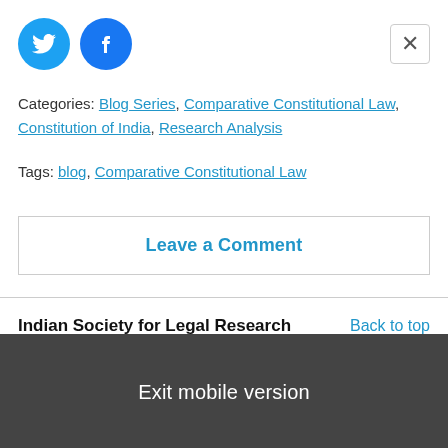[Figure (other): Twitter and Facebook social sharing icon buttons (blue circles with bird and f logos), plus a close (×) button in top right]
Categories: Blog Series, Comparative Constitutional Law, Constitution of India, Research Analysis
Tags: blog, Comparative Constitutional Law
Leave a Comment
Indian Society for Legal Research
Back to top
Exit mobile version